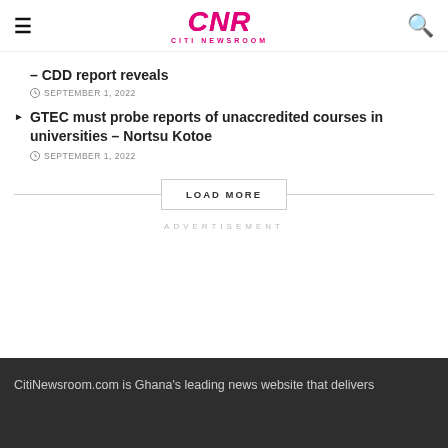CNR CITI NEWSROOM
– CDD report reveals
SEPTEMBER 1, 2022
GTEC must probe reports of unaccredited courses in universities – Nortsu Kotoe
SEPTEMBER 1, 2022
LOAD MORE
ADVERTISEMENT
CitiNewsroom.com is Ghana's leading news website that delivers